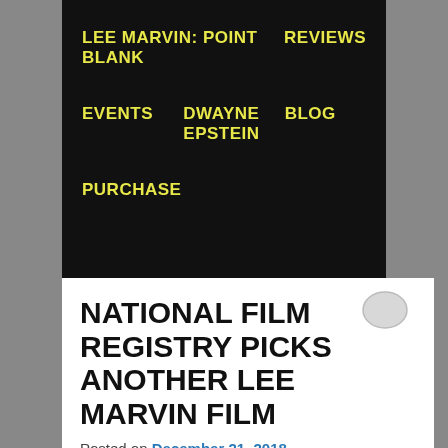LEE MARVIN: POINT BLANK   REVIEWS   EVENTS   DWAYNE EPSTEIN   BLOG   PURCHASE
NATIONAL FILM REGISTRY PICKS ANOTHER LEE MARVIN FILM
Posted on December 21, 2018
The National Film Registry of the Library of Congress recently announced its latest list of inductees into its prestigious pantheon of preservation. Its purpose, as stated on its website is that, “The National Film Registry selects 25 films each year showcasing the range and diversity of American film heritage to increase awareness for its preservation.” Among the 25 worthy picks for 2018